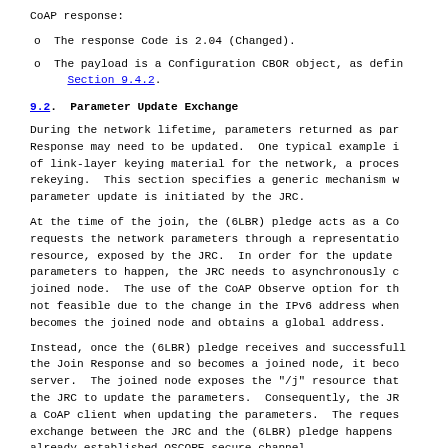CoAP response:
The response Code is 2.04 (Changed).
The payload is a Configuration CBOR object, as defined in Section 9.4.2.
9.2.  Parameter Update Exchange
During the network lifetime, parameters returned as part of the Join Response may need to be updated. One typical example is the update of link-layer keying material for the network, a process known as rekeying. This section specifies a generic mechanism where a parameter update is initiated by the JRC.
At the time of the join, the (6LBR) pledge acts as a CoAP client and requests the network parameters through a representation of the /j resource, exposed by the JRC. In order for the update of the parameters to happen, the JRC needs to asynchronously contact the joined node. The use of the CoAP Observe option for this purpose is not feasible due to the change in the IPv6 address when the pledge becomes the joined node and obtains a global address.
Instead, once the (6LBR) pledge receives and successfully processes the Join Response and so becomes a joined node, it becomes a CoAP server. The joined node exposes the "/j" resource that allows the JRC to update the parameters. Consequently, the JRC acts as a CoAP client when updating the parameters. The request-response exchange between the JRC and the (6LBR) pledge happens over the already-established OSCORE secure channel.